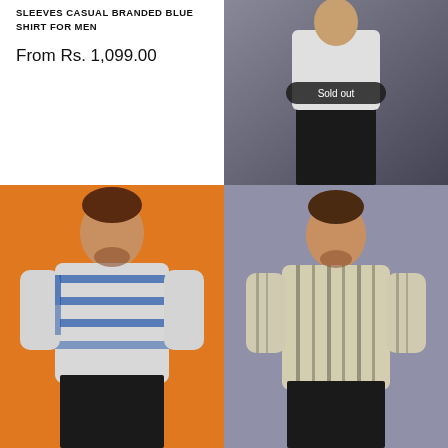SLEEVES CASUAL BRANDED BLUE SHIRT FOR MEN
From Rs. 1,099.00
[Figure (photo): Man wearing a white/dark outfit against dark background, with Sold out badge overlay]
BOLDKNGHT -COTTON PLAIN- FULL SLEEVES CASUAL BRANDED WHITE SHIRT FOR MEN
From Rs. 1,199.00
[Figure (photo): Man wearing a light grey and blue horizontal striped full sleeve shirt against orange background]
[Figure (photo): Man wearing a beige/cream vertical striped full sleeve shirt against purple/grey background]